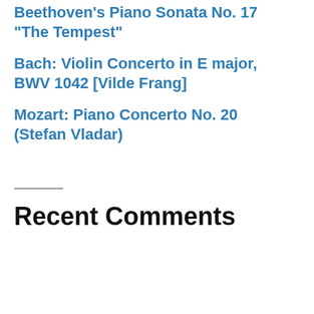Beethoven’s Piano Sonata No. 17 “The Tempest”
Bach: Violin Concerto in E major, BWV 1042 [Vilde Frang]
Mozart: Piano Concerto No. 20 (Stefan Vladar)
Recent Comments